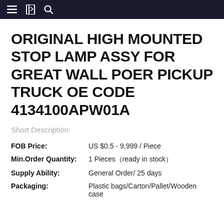Navigation bar with menu, bookmark, and search icons
ORIGINAL HIGH MOUNTED STOP LAMP ASSY FOR GREAT WALL POER PICKUP TRUCK OE CODE 4134100APW01A
Short Description:
FOB Price: US $0.5 - 9,999 / Piece
Min.Order Quantity: 1 Pieces（ready in stock）
Supply Ability: General Order/ 25 days
Packaging: Plastic bags/Carton/Pallet/Wooden case